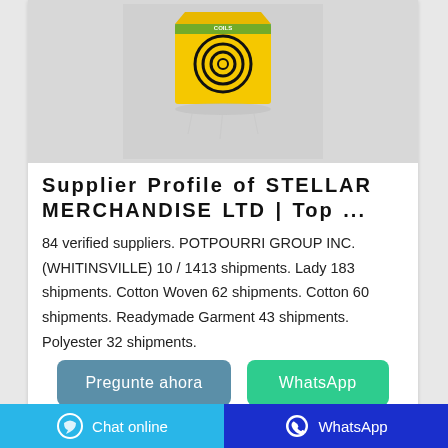[Figure (photo): Product photo of a yellow mosquito coil box with black spiral coil design on a light grey background]
Supplier Profile of STELLAR MERCHANDISE LTD | Top ...
84 verified suppliers. POTPOURRI GROUP INC. (WHITINSVILLE) 10 / 1413 shipments. Lady 183 shipments. Cotton Woven 62 shipments. Cotton 60 shipments. Readymade Garment 43 shipments. Polyester 32 shipments.